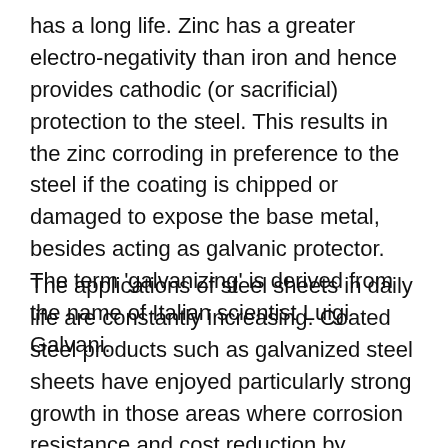has a long life. Zinc has a greater electro-negativity than iron and hence provides cathodic (or sacrificial) protection to the steel. This results in the zinc corroding in preference to the steel if the coating is chipped or damaged to expose the base metal, besides acting as galvanic protector. The term 'galvanizing' is derived from the name of Italian scientist Luigi Galvani.
The applications of steel sheets in daily life are constantly increasing. Coated steel products such as galvanized steel sheets have enjoyed particularly strong growth in those areas where corrosion resistance and cost reduction by process omission are important. Galvanized steel sheets offer superior economy in construction and